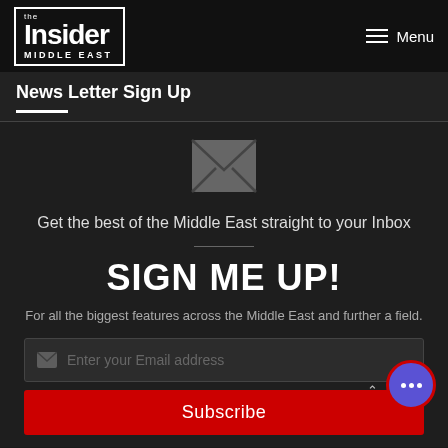[Figure (logo): The Insider Middle East logo — white text on dark background with border]
Menu
News Letter Sign Up
[Figure (illustration): Grey envelope icon]
Get the best of the Middle East straight to your Inbox
SIGN ME UP!
For all the biggest features across the Middle East and further a field.
Enter your Email address
Subscribe